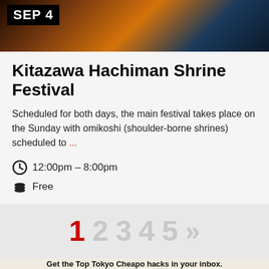[Figure (photo): Banner photo of a building with warm orange/night lighting, with a black date label showing SEP 4]
Kitazawa Hachiman Shrine Festival
Scheduled for both days, the main festival takes place on the Sunday with omikoshi (shoulder-borne shrines) scheduled to ...
12:00pm – 8:00pm
Free
Shimokitazawa
1 2 3 4 5 »
Get the Top Tokyo Cheapo hacks in your inbox.